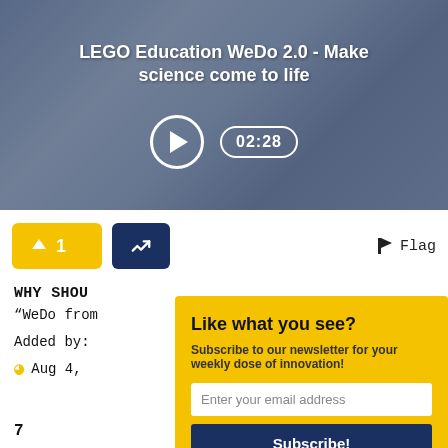[Figure (screenshot): Video thumbnail showing children with LEGO WeDo 2.0 with play button and 02:28 duration badge. Title text reads: LEGO Education WeDo 2.0 - Make science come to life]
LEGO Education WeDo 2.0 - Make science come to life
↑ 1   [share button]   Flag
WHY SHOULD YOU WATCH THIS?
“WeDo from
Added by:
Aug 4,
Like what you see?
Subscribe to our newsletter for your weekly dose of innovation!
Enter your email address
Subscribe!
7